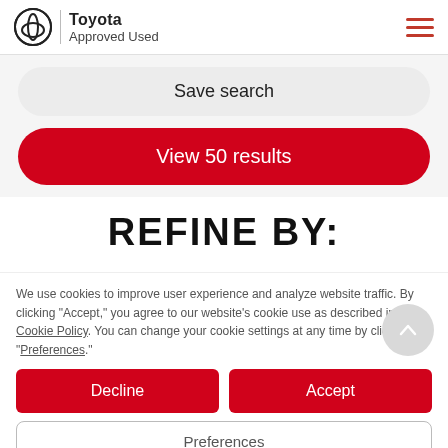[Figure (logo): Toyota Approved Used logo with Toyota oval symbol and text 'Toyota Approved Used']
Save search
View 50 results
REFINE BY:
We use cookies to improve user experience and analyze website traffic. By clicking "Accept," you agree to our website's cookie use as described in our Cookie Policy. You can change your cookie settings at any time by clicking "Preferences."
Decline
Accept
Preferences